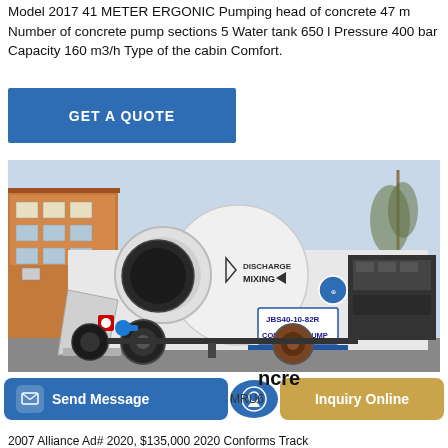Model 2017 41 METER ERGONIC Pumping head of concrete 47 m Number of concrete pump sections 5 Water tank 650 l Pressure 400 bar Capacity 160 m3/h Type of the cabin Comfort.
[Figure (other): Blue GET A QUOTE button]
[Figure (photo): Photo of a JBS40-10-82R concrete pump machine with a large mixing drum labeled DISCHARGE MIXING, white body, parked outdoors near a building.]
[Figure (other): Bottom action bar with Send Message button (blue), a round blue icon, and Inquiry Online button (gold/tan)]
ncre
MRU6
2007 Alliance Ad# 2020, $135,000 2020 Conforms Track